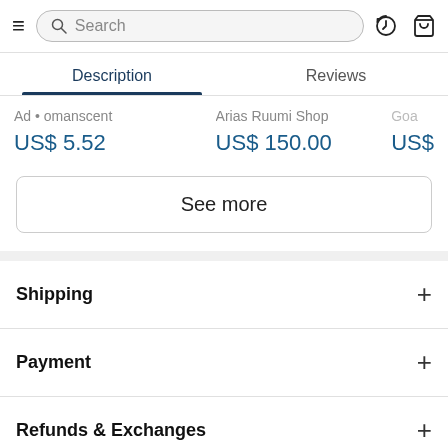Search bar with hamburger menu, history icon, and cart icon
Description | Reviews
Ad • omanscent   US$ 5.52
Arias Ruumi Shop   US$ 150.00
Goa   US$
See more
Shipping +
Payment +
Refunds & Exchanges +
Reviews